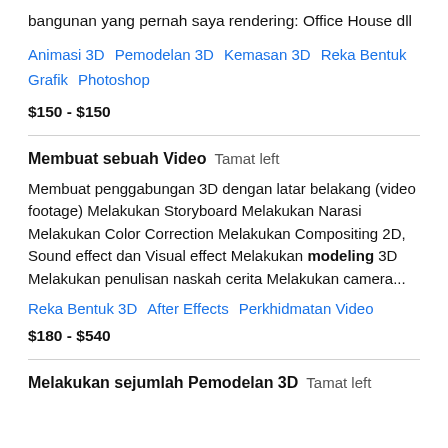bangunan yang pernah saya rendering: Office House dll
Animasi 3D   Pemodelan 3D   Kemasan 3D   Reka Bentuk Grafik   Photoshop
$150 - $150
Membuat sebuah Video   Tamat left
Membuat penggabungan 3D dengan latar belakang (video footage) Melakukan Storyboard Melakukan Narasi Melakukan Color Correction Melakukan Compositing 2D, Sound effect dan Visual effect Melakukan modeling 3D Melakukan penulisan naskah cerita Melakukan camera...
Reka Bentuk 3D   After Effects   Perkhidmatan Video
$180 - $540
Melakukan sejumlah Pemodelan 3D   Tamat left